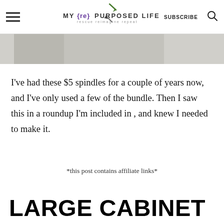MY {re} PURPOSED LIFE rescue reimagine repeat | SUBSCRIBE
[Figure (photo): Partial image of spindles or wood pieces, cropped at top of page]
I've had these $5 spindles for a couple of years now, and I've only used a few of the bundle. Then I saw this in a roundup I'm included in , and knew I needed to make it.
*this post contains affiliate links*
LARGE CABINET